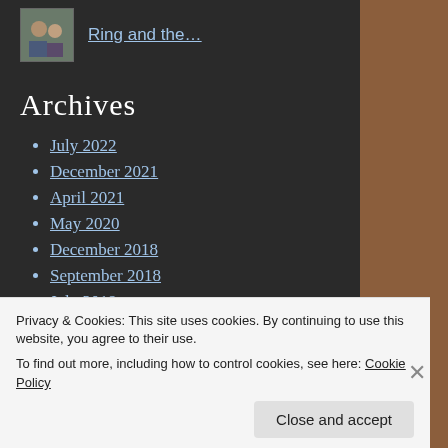[Figure (photo): Small thumbnail image of two people]
Ring and the…
Archives
July 2022
December 2021
April 2021
May 2020
December 2018
September 2018
July 2018
March 2018
Privacy & Cookies: This site uses cookies. By continuing to use this website, you agree to their use.
To find out more, including how to control cookies, see here: Cookie Policy
Close and accept